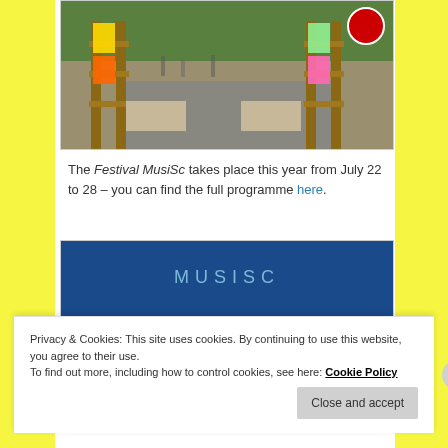[Figure (photo): Outdoor market stalls with colorful clothing items displayed on wooden pallet racks along a street with trees]
The Festival MusiSc takes place this year from July 22 to 28 – you can find the full programme here.
[Figure (photo): Festival promotional banner with dark blue background. Text reads: MUSISC FESTIVAL DE MUSIQUE DE SAINT-CHINIAN (partially visible)]
Privacy & Cookies: This site uses cookies. By continuing to use this website, you agree to their use.
To find out more, including how to control cookies, see here: Cookie Policy
Close and accept